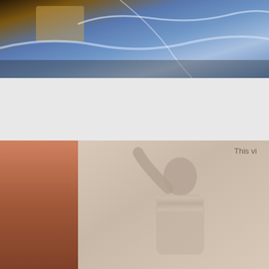[Figure (screenshot): Top portion of a video player showing blue satin fabric with warm tones]
1 year ago
9:35
Mature blonde Lilly satin indulgence 4
[x] Close Ad
blonde  fetish  lingerie  mature  nylon  pantyhose  satin  softcore  stockings  u...
[Figure (screenshot): Bottom video thumbnail showing a person with arm raised, partially blurred with overlay text 'This vi']